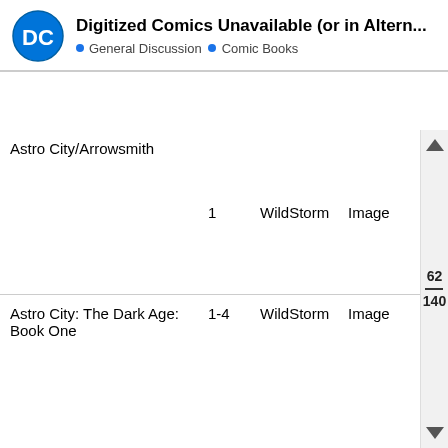Digitized Comics Unavailable (or in Altern... • General Discussion • Comic Books
| Title | Issues | Publisher | Publisher2 | Alt |
| --- | --- | --- | --- | --- |
| Astro City/Arrowsmith | 1 | WildStorm | Image | Astro C (2005-2009) 6: The Dark A Book O Brothe and O Strang |
| Astro City: The Dark Age: Book One | 1-4 | WildStorm | Image | Astro C (2005-2009) 6: The Dark A Book O |